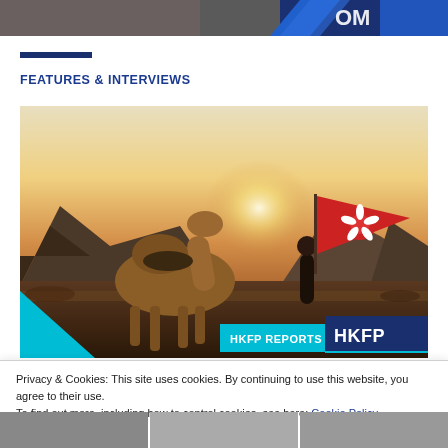[Figure (photo): Partial top banner image showing hand holding sign and blue diagonal stripe]
FEATURES & INTERVIEWS
[Figure (photo): Person holding Hong Kong flag in desert with camel and mountain backdrop at sunset, overlaid with HKFP REPORTS branding and teal triangle corner graphic]
Privacy & Cookies: This site uses cookies. By continuing to use this website, you agree to their use.
To find out more, including how to control cookies, see here: Cookie Policy
Close and accept
[Figure (photo): Bottom strip showing partial images of people]